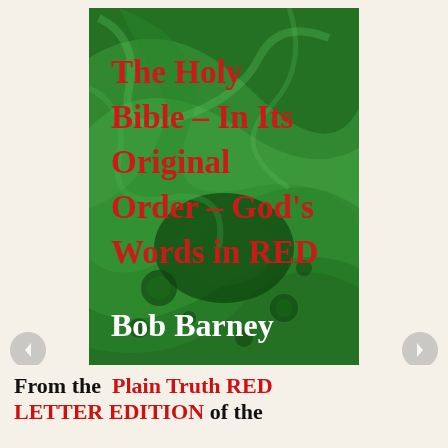[Figure (illustration): Book cover with green marbled background texture. Title text in red reads 'The Holy Bible - In Its Original Order - God's Words in RED'. Author name in white reads 'Bob Barney'.]
From the Plain Truth RED LETTER EDITION of the